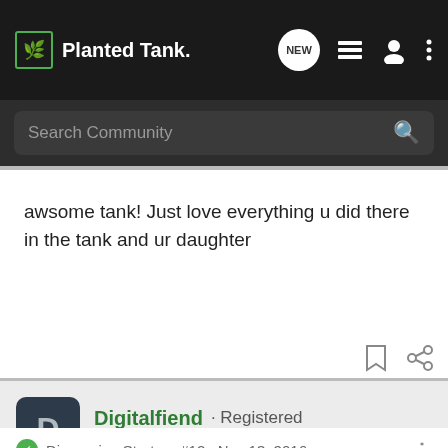Planted Tank
Search Community
awsome tank! Just love everything u did there in the tank and ur daughter
Digitalfiend · Registered
Joined Aug 29, 2014 · 50 Posts
Discussion Starter · #12 · Nov 13, 2016